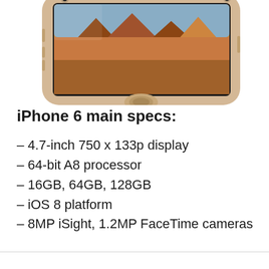[Figure (photo): iPhone 6 in gold color shown from the front at an angle, displaying a landscape desert/canyon scene on screen. The top portion of the phone is visible showing the camera, screen, and home button area.]
iPhone 6 main specs:
– 4.7-inch 750 x 133p display
– 64-bit A8 processor
– 16GB, 64GB, 128GB
– iOS 8 platform
– 8MP iSight, 1.2MP FaceTime cameras